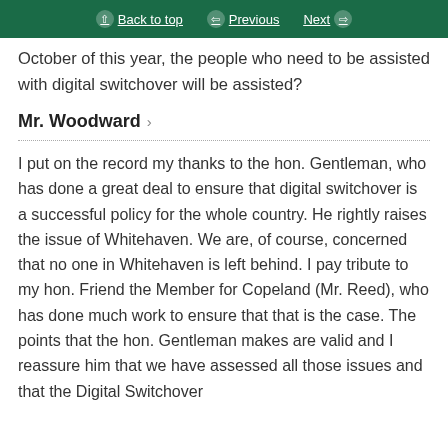Back to top   Previous   Next
October of this year, the people who need to be assisted with digital switchover will be assisted?
Mr. Woodward >
I put on the record my thanks to the hon. Gentleman, who has done a great deal to ensure that digital switchover is a successful policy for the whole country. He rightly raises the issue of Whitehaven. We are, of course, concerned that no one in Whitehaven is left behind. I pay tribute to my hon. Friend the Member for Copeland (Mr. Reed), who has done much work to ensure that that is the case. The points that the hon. Gentleman makes are valid and I reassure him that we have assessed all those issues and that the Digital Switchover